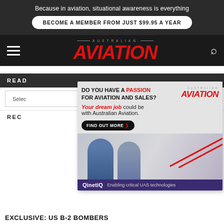Because in aviation, situational awareness is everything
BECOME A MEMBER FROM JUST $99.95 A YEAR
AUSTRALIAN AVIATION
READ
[Figure (advertisement): Australian Aviation job ad: DO YOU HAVE A PASSION FOR AVIATION AND SALES? Your dream job could be with Australian Aviation. FIND OUT MORE button. Photo of two people meeting. QinetiQ bar: Enabling critical UAS technologies.]
Select
REC
EXCLUSIVE: US B-2 BOMBERS